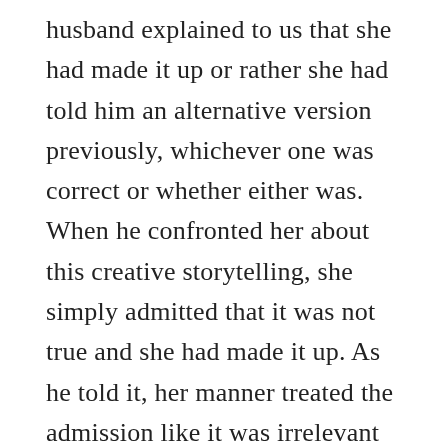husband explained to us that she had made it up or rather she had told him an alternative version previously, whichever one was correct or whether either was. When he confronted her about this creative storytelling, she simply admitted that it was not true and she had made it up. As he told it, her manner treated the admission like it was irrelevant or insignificant, and so she offered no explanation for why she did it. She just shrugged it off, as if it were normal and acceptable behavior.

Yet it's entirely possible that the whole